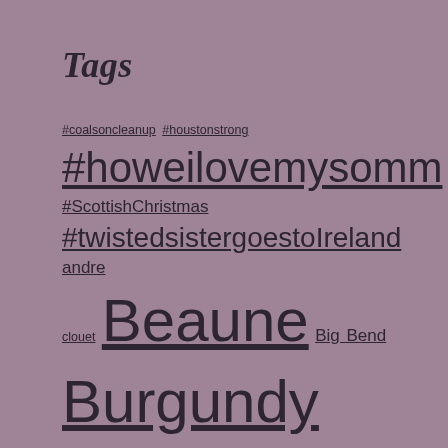Tags
#coalsoncleanup #houstonstrong #howeilovemysomm #ScottishChristmas #twistedsistergoestoIreland andre clouet Beaune Big Bend Burgundy Croatia england harvey Howesimplesummer hurricane Harvey Ireland Johor Bahru Malaysia travel Malaysia travelblog oursommlife oursommwintervacay paris